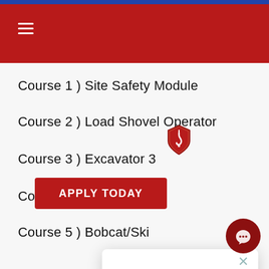Course 1 ) Site Safety Module
Course 2 ) Load Shovel Operator
Course 3 ) Excavator 3
Course 4 ) Backhoe Op
Course 5 ) Bobcat/Ski
[Figure (screenshot): Chat popup widget with crane hook icon, close button (×), and text: Hi! Do you need any assistance or advice? Type your message here along with your email address, and we will connect you to an advisor.]
APPLY TODAY